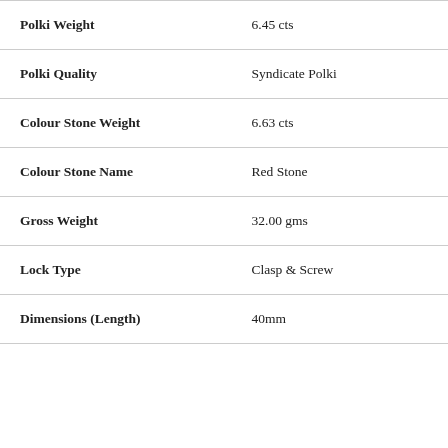| Attribute | Value |
| --- | --- |
| Polki Weight | 6.45 cts |
| Polki Quality | Syndicate Polki |
| Colour Stone Weight | 6.63 cts |
| Colour Stone Name | Red Stone |
| Gross Weight | 32.00 gms |
| Lock Type | Clasp & Screw |
| Dimensions (Length) | 40mm |